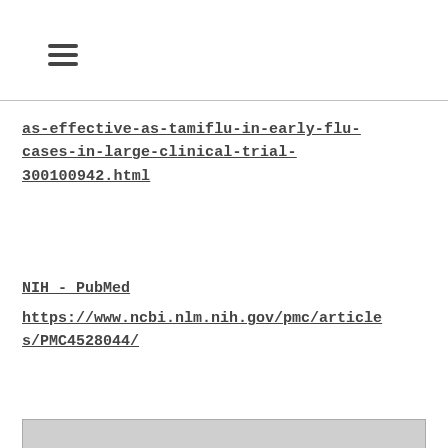≡
as-effective-as-tamiflu-in-early-flu-cases-in-large-clinical-trial-300100942.html
NIH - PubMed
https://www.ncbi.nlm.nih.gov/pmc/articles/PMC4528044/
[Figure (photo): Bottom partial image strip visible at the very bottom of the page]